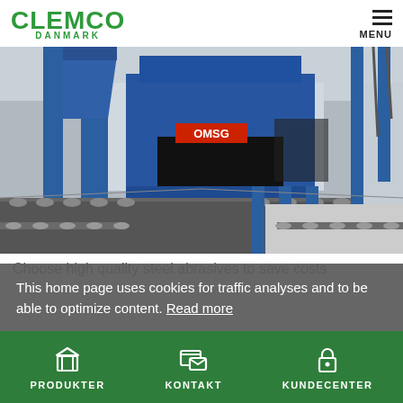CLEMCO DANMARK — MENU
[Figure (photo): Industrial blue shot blasting machine (OMSG brand) in a large factory hall with a conveyor belt running through it, roller conveyors on both sides]
Choose high quality steel abrasives to save costs
This home page uses cookies for traffic analyses and to be able to optimize content. Read more
PRODUKTER   KONTAKT   KUNDECENTER